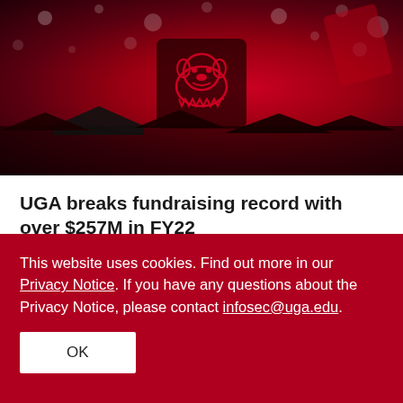[Figure (photo): Red-tinted photo of UGA graduation ceremony with students in caps and gowns, UGA bulldog logo visible on a graduation cap in the center]
UGA breaks fundraising record with over $257M in FY22
07/18/22 | Clarke Schwabe | news.uga.edu
University of Georgia alumni and friends gave back to UGA at unprecedented levels over the past fiscal year, breaking the university's fundraising record with over $257.4 million in
This website uses cookies. Find out more in our Privacy Notice. If you have any questions about the Privacy Notice, please contact infosec@uga.edu.
OK